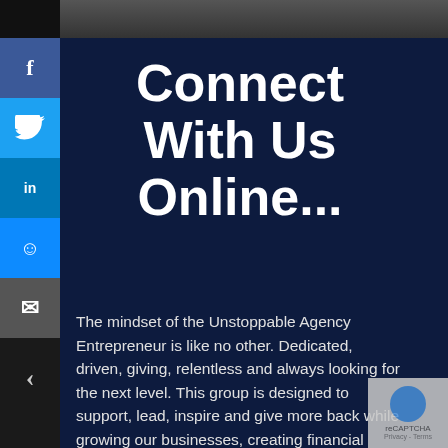[Figure (screenshot): Top image bar showing partial photo of person(s), dark background]
Connect With Us Online...
The mindset of the Unstoppable Agency Entrepreneur is like no other. Dedicated, driven, giving, relentless and always looking for the next level. This group is designed to support, lead, inspire and give more back while growing our businesses, creating financial wealth and having more freedom. All through implementation of a unique philosophy, a simple 3 step blueprint, developed over 32 years of research -